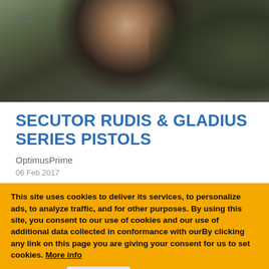[Figure (photo): A person with light/blonde hair in a dark outfit, photographed outdoors with green foliage in the background. A hamburger menu icon is visible in the top-left corner.]
SECUTOR RUDIS & GLADIUS SERIES PISTOLS
OptimusPrime
06 Feb 2017
This site uses cookies to deliver its services, to personalize ads, to analyze traffic, and for other purposes. By using this site, you consent to our use of cookies and our use of additional data collected in conformance with ourBy clicking any link on this page you are giving your consent for us to set cookies. More info
OK, I agree
No, thanks